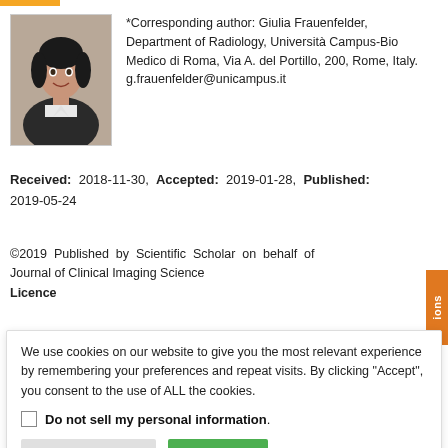[Figure (photo): Portrait photo of Giulia Frauenfelder, a woman with dark hair, smiling, wearing a dark jacket]
*Corresponding author: Giulia Frauenfelder, Department of Radiology, Università Campus-Bio Medico di Roma, Via A. del Portillo, 200, Rome, Italy. g.frauenfelder@unicampus.it
Received: 2018-11-30, Accepted: 2019-01-28, Published: 2019-05-24
©2019 Published by Scientific Scholar on behalf of Journal of Clinical Imaging Science
Licence
We use cookies on our website to give you the most relevant experience by remembering your preferences and repeat visits. By clicking "Accept", you consent to the use of ALL the cookies.
Do not sell my personal information
Cookie Settings
Accept